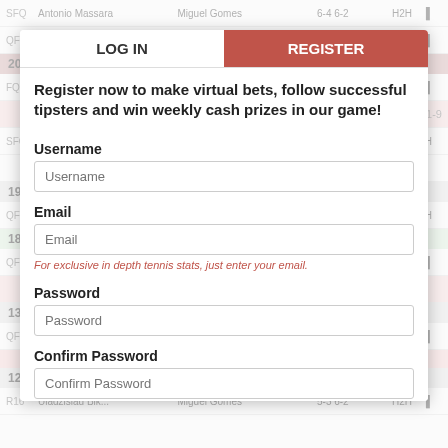[Figure (screenshot): Background tennis app showing match results with player names, scores, round labels (SFQ, QFQ, R16), and H2H columns for tournaments including M15 Doboj Wk.19, M15 Meerbusch Wk.18, Oeiras 1 Challenger, and Ponta Do Lago Wk.12]
LOG IN
REGISTER
Register now to make virtual bets, follow successful tipsters and win weekly cash prizes in our game!
Username
Username
Email
Email
For exclusive in depth tennis stats, just enter your email.
Password
Password
Confirm Password
Confirm Password